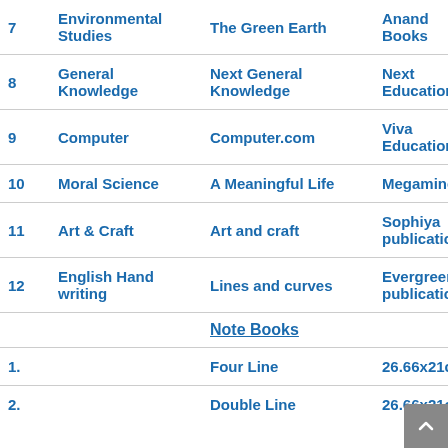| # | Subject | Book Title | Publisher | Qty |
| --- | --- | --- | --- | --- |
| 7 | Environmental Studies | The Green Earth | Anand Books | 1 |
| 8 | General Knowledge | Next General Knowledge | Next Education | 1 |
| 9 | Computer | Computer.com | Viva Education | 1 |
| 10 | Moral Science | A Meaningful Life | Megamind | 1 |
| 11 | Art & Craft | Art and craft | Sophiya publication | 1 |
| 12 | English Hand writing | Lines and curves | Evergreen publication | 1 |
|  |  | Note Books |  |  |
| 1. |  | Four Line | 26.66x21cm | 10 |
| 2. |  | Double Line | 26.66x21cm | 2 |